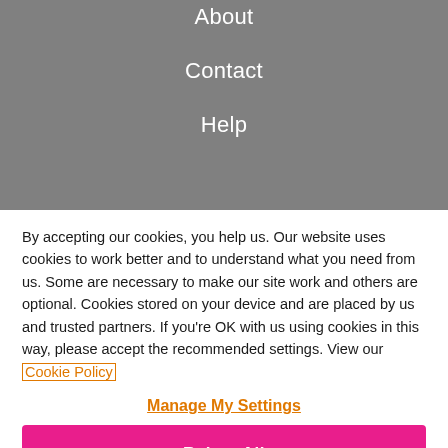About
Contact
Help
By accepting our cookies, you help us. Our website uses cookies to work better and to understand what you need from us. Some are necessary to make our site work and others are optional. Cookies stored on your device and are placed by us and trusted partners. If you're OK with us using cookies in this way, please accept the recommended settings. View our Cookie Policy
Manage My Settings
Reject All
Accept All Cookies